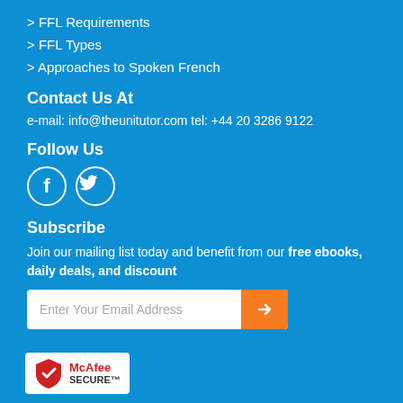> FFL Requirements
> FFL Types
> Approaches to Spoken French
Contact Us At
e-mail: info@theunitutor.com tel: +44 20 3286 9122
Follow Us
[Figure (illustration): Facebook and Twitter social media icons as white circles with white logos on blue background]
Subscribe
Join our mailing list today and benefit from our free ebooks, daily deals, and discount
[Figure (other): Email subscription input box with placeholder 'Enter Your Email Address' and orange arrow submit button]
[Figure (logo): McAfee SECURE badge with shield logo]